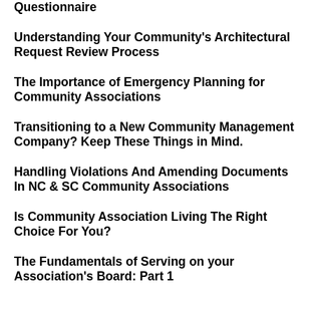Questionnaire
Understanding Your Community's Architectural Request Review Process
The Importance of Emergency Planning for Community Associations
Transitioning to a New Community Management Company? Keep These Things in Mind.
Handling Violations And Amending Documents In NC & SC Community Associations
Is Community Association Living The Right Choice For You?
The Fundamentals of Serving on your Association's Board: Part 1